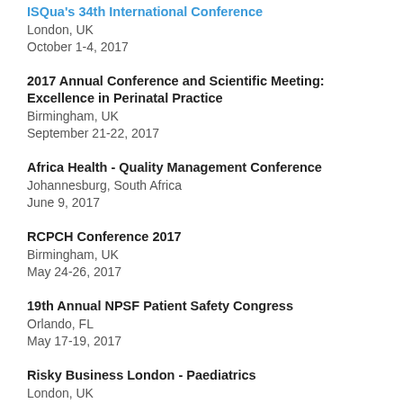ISQua's 34th International Conference
London, UK
October 1-4, 2017
2017 Annual Conference and Scientific Meeting: Excellence in Perinatal Practice
Birmingham, UK
September 21-22, 2017
Africa Health - Quality Management Conference
Johannesburg, South Africa
June 9, 2017
RCPCH Conference 2017
Birmingham, UK
May 24-26, 2017
19th Annual NPSF Patient Safety Congress
Orlando, FL
May 17-19, 2017
Risky Business London - Paediatrics
London, UK
May 10, 2017
Paediatric Annual Scientific Meeting...